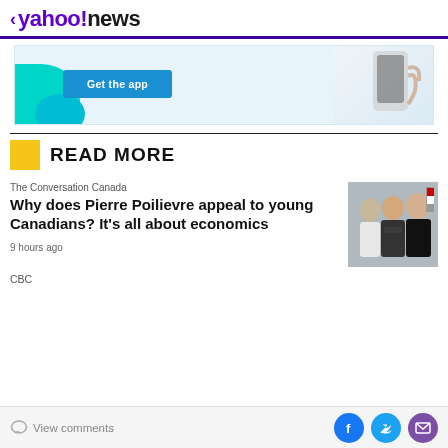< yahoo!news
[Figure (screenshot): App download advertisement banner with 'Get the app' button, teal decorative shape, and hand holding a phone]
READ MORE
The Conversation Canada
Why does Pierre Poilievre appeal to young Canadians? It's all about economics
9 hours ago
[Figure (photo): Three young men standing together, one wearing a white t-shirt]
CBC
View comments